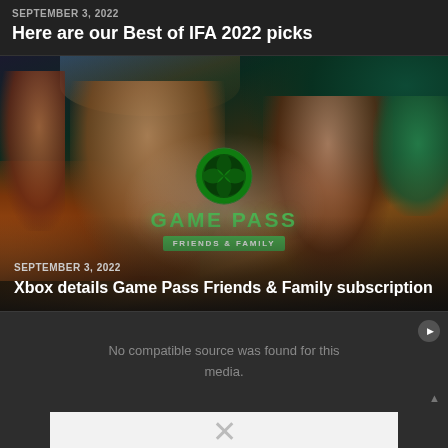SEPTEMBER 3, 2022
Here are our Best of IFA 2022 picks
[Figure (photo): Xbox Game Pass Friends & Family promotional image showing two people on a sofa with game characters surrounding them, alongside the Xbox Game Pass logo and Friends & Family badge]
SEPTEMBER 3, 2022
Xbox details Game Pass Friends & Family subscription
[Figure (screenshot): Video player showing error message: No compatible source was found for this media. Partially visible Xbox logo at bottom.]